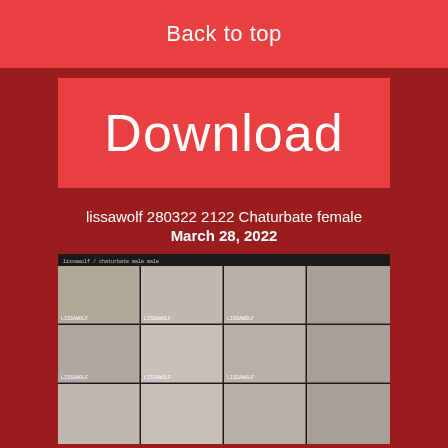Back to top
Download
lissawolf 280322 2122 Chaturbate female March 28, 2022
[Figure (screenshot): Video thumbnail grid showing multiple frames from a webcam recording, arranged in a 4-column by 3-row grid layout with a dark header bar at top showing a URL.]